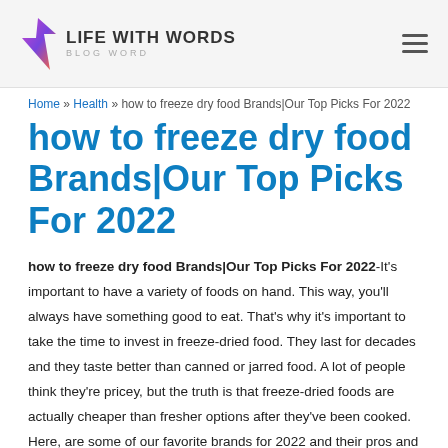LIFE WITH WORDS | BLOG WORD
Home » Health » how to freeze dry food Brands|Our Top Picks For 2022
how to freeze dry food Brands|Our Top Picks For 2022
how to freeze dry food Brands|Our Top Picks For 2022-It's important to have a variety of foods on hand. This way, you'll always have something good to eat. That's why it's important to take the time to invest in freeze-dried food. They last for decades and they taste better than canned or jarred food. A lot of people think they're pricey, but the truth is that freeze-dried foods are actually cheaper than fresher options after they've been cooked. Here, are some of our favorite brands for 2022 and their pros and